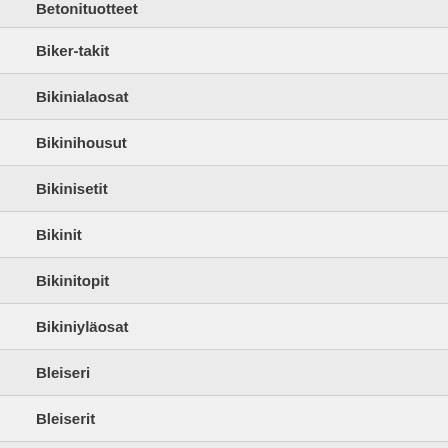Betonituotteet
Biker-takit
Bikinialaosat
Bikinihousut
Bikinisetit
Bikinit
Bikinitopit
Bikiniyläosat
Bleiseri
Bleiserit